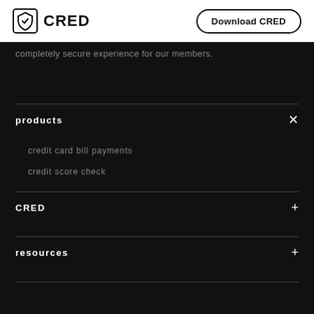CRED | Download CRED
completely secure experience for our members.
products
credit card bill payments
credit score check
CRED
resources